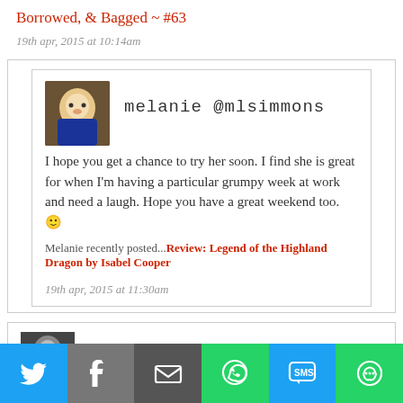Borrowed, & Bagged ~ #63
19th apr, 2015 at 10:14am
melanie @mlsimmons
I hope you get a chance to try her soon. I find she is great for when I'm having a particular grumpy week at work and need a laugh. Hope you have a great weekend too. 🙂
Melanie recently posted...Review: Legend of the Highland Dragon by Isabel Cooper
19th apr, 2015 at 11:30am
joy //
[Figure (infographic): Social sharing bar with Twitter, Facebook, Email, WhatsApp, SMS, and More buttons]